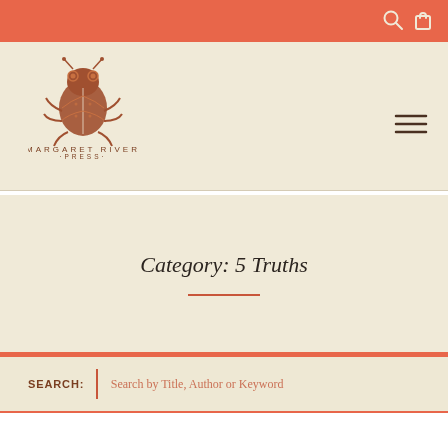Margaret River Press navigation header with search and cart icons
[Figure (logo): Margaret River Press logo: stylized frog/beetle illustration above the text MARGARET RIVER PRESS]
Category: 5 Truths
SEARCH: Search by Title, Author or Keyword